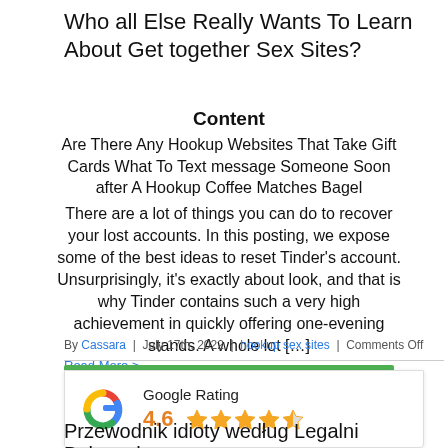Who all Else Really Wants To Learn About Get together Sex Sites?
Content
Are There Any Hookup Websites That Take Gift Cards What To Text message Someone Soon after A Hookup Coffee Matches Bagel
There are a lot of things you can do to recover your lost accounts. In this posting, we expose some of the best ideas to reset Tinder's account. Unsurprisingly, it's exactly about look, and that is why Tinder contains such a very high achievement in quickly offering one-evening stands. A whole lot […]
By Cassara | July 17th, 2022 | hookup sex sites | Comments Off
Read More >
[Figure (other): Google Rating widget showing 4.6 stars out of 5 with star icons]
Przewodnik idioty według Legalni Bukmacherzy